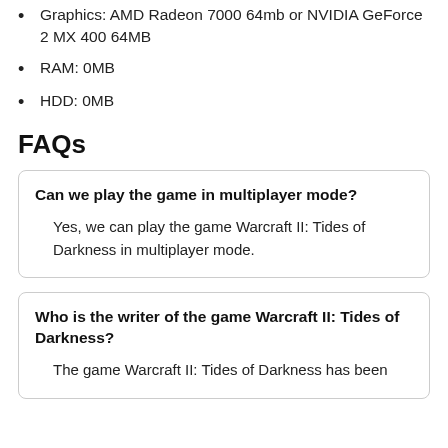Graphics: AMD Radeon 7000 64mb or NVIDIA GeForce 2 MX 400 64MB
RAM: 0MB
HDD: 0MB
FAQs
Can we play the game in multiplayer mode?
Yes, we can play the game Warcraft II: Tides of Darkness in multiplayer mode.
Who is the writer of the game Warcraft II: Tides of Darkness?
The game Warcraft II: Tides of Darkness has been